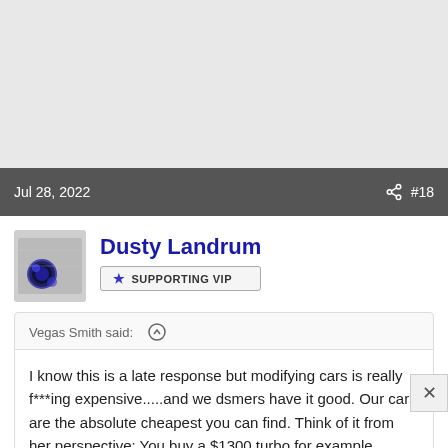Jul 28, 2022   #18
Dusty Landrum
SUPPORTING VIP
Vegas Smith said:
I know this is a late response but modifying cars is really f***ing expensive.....and we dsmers have it good. Our cars are the absolute cheapest you can find. Think of it from her perspective: You buy a $1300 turbo for example. Would you be happy if she came home with a $1300 purse? That $4000 engine you're putting together...you think you'd be happy if she bought a $1000 piece of jewelry 4 months in a
Click to expand...